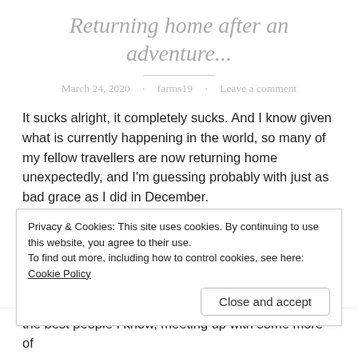Returning home after an adventure...
March 24, 2020 · farms19 · Leave a comment
It sucks alright, it completely sucks. And I know given what is currently happening in the world, so many of my fellow travellers are now returning home unexpectedly, and I'm guessing probably with just as bad grace as I did in December.
For me coming home this time was beyond hard, because
Privacy & Cookies: This site uses cookies. By continuing to use this website, you agree to their use.
To find out more, including how to control cookies, see here: Cookie Policy
Close and accept
the best people I know, meeting up with some more of